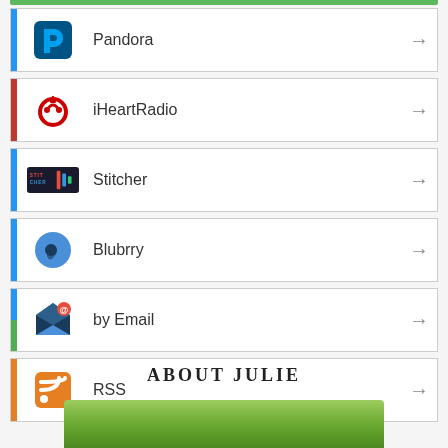Pandora
iHeartRadio
Stitcher
Blubrry
by Email
RSS
ABOUT JULIE
[Figure (photo): Photo of Julie, green outdoor background, partially visible at bottom of page]